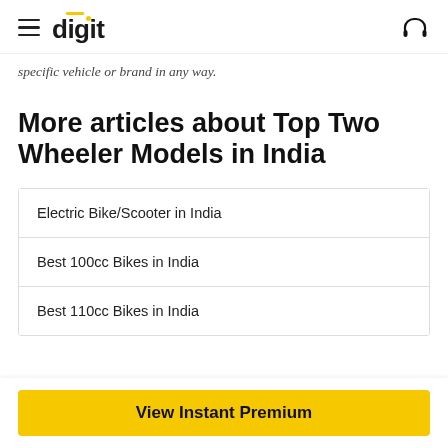digit
specific vehicle or brand in any way.
More articles about Top Two Wheeler Models in India
Electric Bike/Scooter in India
Best 100cc Bikes in India
Best 110cc Bikes in India
View Instant Premium